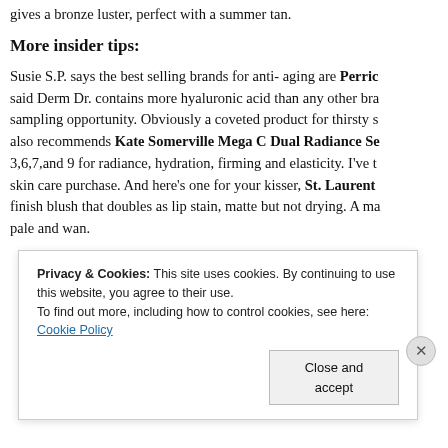gives a bronze luster, perfect with a summer tan.
More insider tips:
Susie S.P. says the best selling brands for anti- aging are Perric... said Derm Dr. contains more hyaluronic acid than any other bra... sampling opportunity. Obviously a coveted product for thirsty s... also recommends Kate Somerville Mega C Dual Radiance Se... 3,6,7,and 9 for radiance, hydration, firming and elasticity. I’ve t... skin care purchase. And here’s one for your kisser, St. Laurent ... finish blush that doubles as lip stain, matte but not drying. A ma... pale and wan.
Privacy & Cookies: This site uses cookies. By continuing to use this website, you agree to their use.
To find out more, including how to control cookies, see here: Cookie Policy
Close and accept